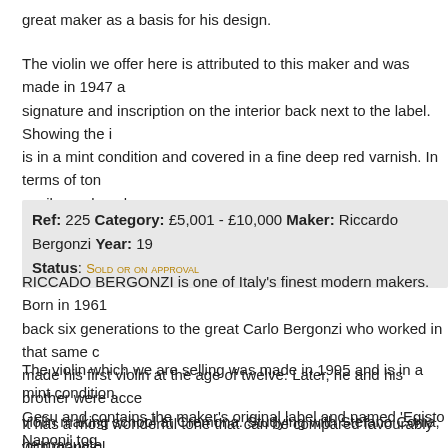great maker as a basis for his design.
The violin we offer here is attributed to this maker and was made in 1947 a... signature and inscription on the interior back next to the label. Showing the i... is in a mint condition and covered in a fine deep red varnish. In terms of ton... easily produced.
Ref: 225 Category: £5,001 - £10,000 Maker: Riccardo Bergonzi Year: 19... Status: Sold or on approval
RICCADO BERGONZI is one of Italy's finest modern makers. Born in 1961 ... back six generations to the great Carlo Bergonzi who worked in that same c... made his first violin at the age of twelve. Later, he and his brother were acce... violin making school at Cremona. Studying with Stefano Conia, he graduate... and was immediately asked to become a teacher at the Cremona School wh... won many medals for his instruments.
The violin which we are selling was made in 1995 and is in a mint condition.... Gesu and contains the maker's original label and named 'Egisto Naponi' tog...
It has a most wonderful tone that can be compared favourably with many ol... prices.